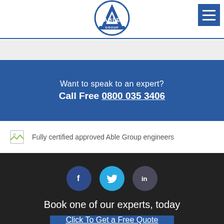[Figure (logo): Able Group logo — circular badge with triangle A and text ABLE GROUP in blue]
Want to speak to an expert?
Call Free 0800 035 3406
Fully certified approved Able Group engineers
[Figure (infographic): Social media icons: Facebook (f), Twitter (bird), LinkedIn (in)]
Book one of our experts, today
Click To Get a Free Quote
Calls made will not be charged